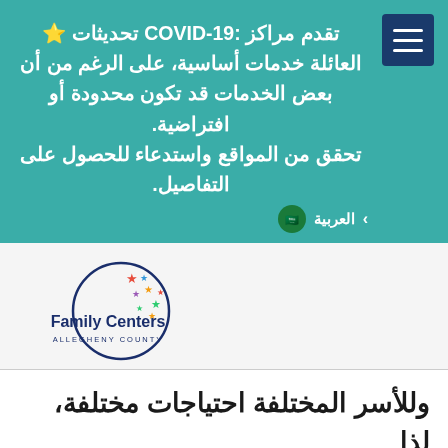تقدم مراكز :COVID-19 تحديثات 🌟 العائلة خدمات أساسية، على الرغم من أن بعض الخدمات قد تكون محدودة أو افتراضية. تحقق من المواقع واستدعاء للحصول على التفاصيل.
[Figure (logo): Family Centers Allegheny County logo — circular dark blue outline with colorful stars inside, text 'Family Centers ALLEGHENY COUNTY']
وللأسر المختلفة احتياجات مختلفة، لذا فإن الموارد المتاحة من خلال مراكز الأسرة تتراوح بين الغذاء والحفاضات والمساعدة السكنية والتدريب على